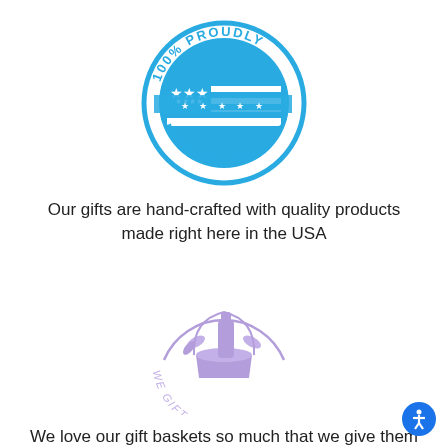[Figure (logo): Blue circular badge with text '100% PROUDLY MADE IN THE USA' and a stylized American flag in the center]
Our gifts are hand-crafted with quality products made right here in the USA
[Figure (logo): Purple circular logo with a gift basket illustration and text 'WE GIFT OUR GIFTS' along the bottom arc]
We love our gift baskets so much that we give them to our loved ones as well.